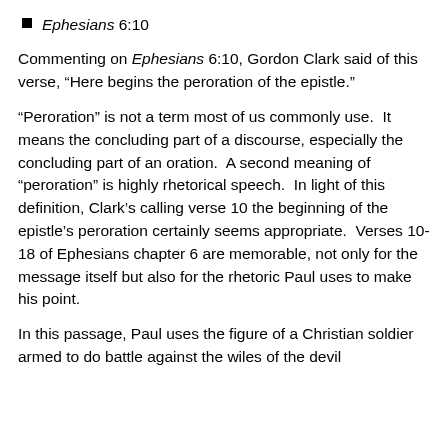Ephesians 6:10
Commenting on Ephesians 6:10, Gordon Clark said of this verse, “Here begins the peroration of the epistle.”
“Peroration” is not a term most of us commonly use.  It means the concluding part of a discourse, especially the concluding part of an oration.  A second meaning of “peroration” is highly rhetorical speech.  In light of this definition, Clark’s calling verse 10 the beginning of the epistle’s peroration certainly seems appropriate.  Verses 10-18 of Ephesians chapter 6 are memorable, not only for the message itself but also for the rhetoric Paul uses to make his point.
In this passage, Paul uses the figure of a Christian soldier armed to do battle against the wiles of the devil